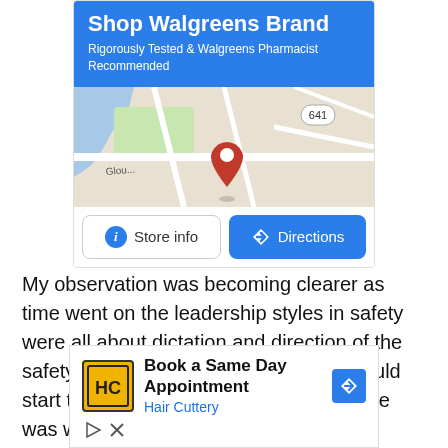[Figure (screenshot): Walgreens Brand advertisement with blue header showing 'Shop Walgreens Brand' title, 'Rigorously Tested & Walgreens Pharmacist Recommended' subtitle, a Google Maps snippet with a location pin near road 641, and two buttons: 'Store info' and 'Directions']
My observation was becoming clearer as time went on the leadership styles in safety were all about dictation and direction of the safety systems. The Safety Gestapo would start their crusade, making sure everyone was wearing their gloves and not
[Figure (screenshot): Hair Cuttery advertisement with logo, 'Book a Same Day Appointment' title, 'Hair Cuttery' subtitle in blue, a directions icon, and small play/close icons at bottom left]